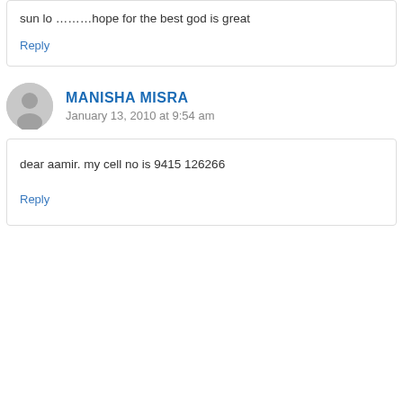sun lo ………hope for the best god is great
Reply
MANISHA MISRA
January 13, 2010 at 9:54 am
dear aamir. my cell no is 9415126266
Reply